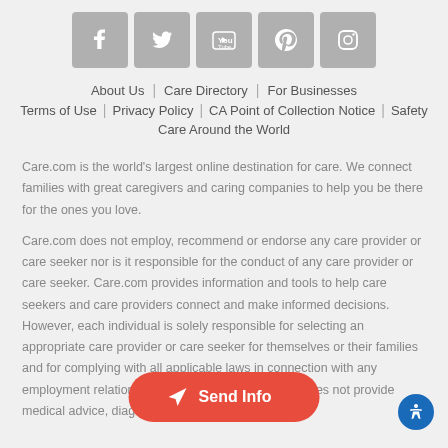[Figure (other): Row of five social media icons: Facebook, Twitter, YouTube, Pinterest, Instagram — gray square buttons with white icons]
About Us | Care Directory | For Businesses
Terms of Use | Privacy Policy | CA Point of Collection Notice | Safety
Care Around the World
Care.com is the world's largest online destination for care. We connect families with great caregivers and caring companies to help you be there for the ones you love.
Care.com does not employ, recommend or endorse any care provider or care seeker nor is it responsible for the conduct of any care provider or care seeker. Care.com provides information and tools to help care seekers and care providers connect and make informed decisions. However, each individual is solely responsible for selecting an appropriate care provider or care seeker for themselves or their families and for complying with all applicable laws in connection with any employment relationship they establish. Care.com does not provide medical advice, diagnosis or treatment or
[Figure (other): Red rounded rectangle button labeled 'Send Info' with a paper airplane icon]
[Figure (other): Blue circular accessibility button in bottom right corner]